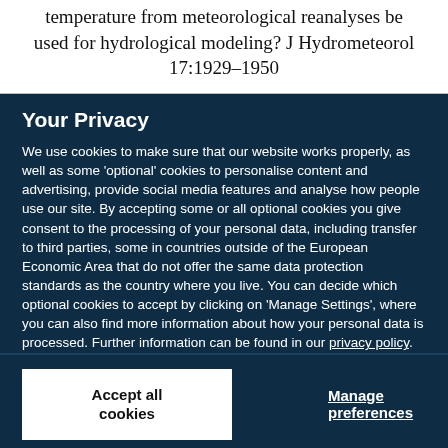temperature from meteorological reanalyses be used for hydrological modeling? J Hydrometeorol 17:1929–1950
Your Privacy
We use cookies to make sure that our website works properly, as well as some 'optional' cookies to personalise content and advertising, provide social media features and analyse how people use our site. By accepting some or all optional cookies you give consent to the processing of your personal data, including transfer to third parties, some in countries outside of the European Economic Area that do not offer the same data protection standards as the country where you live. You can decide which optional cookies to accept by clicking on 'Manage Settings', where you can also find more information about how your personal data is processed. Further information can be found in our privacy policy.
Accept all cookies
Manage preferences